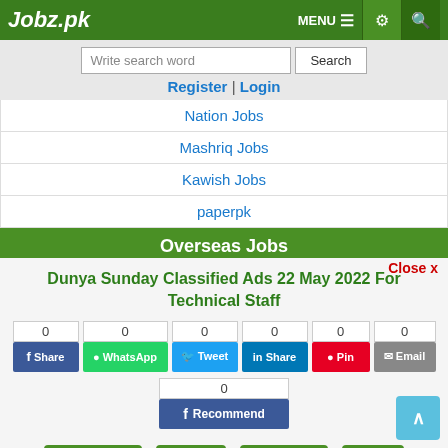Jobz.pk
Write search word | Search
Register | Login
Nation Jobs
Mashriq Jobs
Kawish Jobs
paperpk
Overseas Jobs
Jobs in Dubai
Dunya Sunday Classified Ads 22 May 2022 For Technical Staff
Close x
0 Share | 0 WhatsApp | 0 Tweet | 0 Share | 0 Pin | 0 Email
0 Recommend
Job Closed | Save | Comment | Print